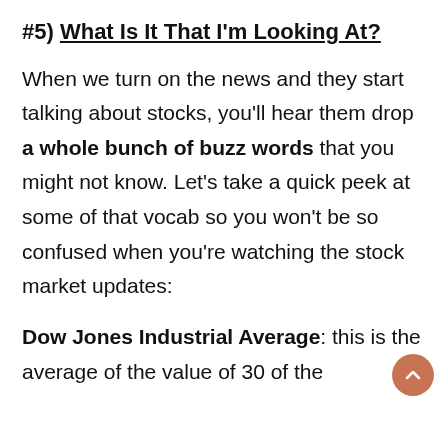#5) What Is It That I'm Looking At?
When we turn on the news and they start talking about stocks, you'll hear them drop a whole bunch of buzz words that you might not know. Let's take a quick peek at some of that vocab so you won't be so confused when you're watching the stock market updates:
Dow Jones Industrial Average: this is the average of the value of 30 of the